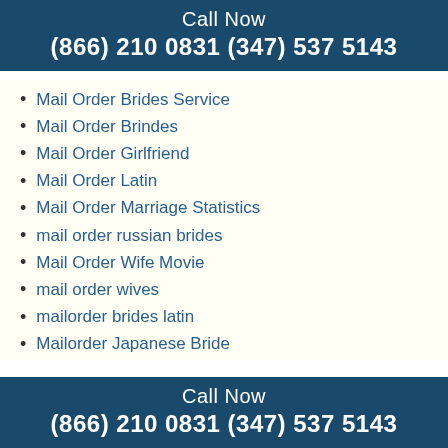Call Now
(866) 210 0831 (347) 537 5143
Mail Order Brides Service
Mail Order Brindes
Mail Order Girlfriend
Mail Order Latin
Mail Order Marriage Statistics
mail order russian brides
Mail Order Wife Movie
mail order wives
mailorder brides latin
Mailorder Japanese Bride
Mailorder Russian Bride
mailorder russian brides
Mailorder Thai Brides
Main
Maine Installment Loan Laws
Maiotaku log in
Call Now
(866) 210 0831 (347) 537 5143